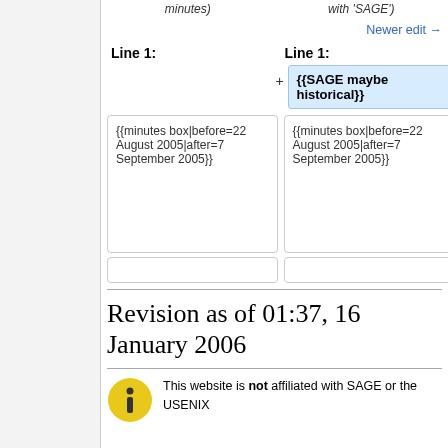minutes)
with 'SAGE')
Newer edit →
Line 1:
Line 1:
{{SAGE maybe historical}}
{{minutes box|before=22 August 2005|after=7 September 2005}}
{{minutes box|before=22 August 2005|after=7 September 2005}}
Revision as of 01:37, 16 January 2006
This website is not affiliated with SAGE or the USENIX